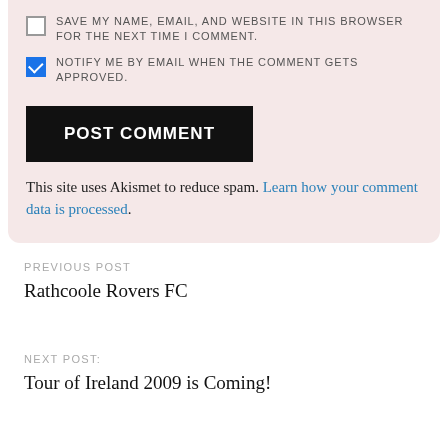SAVE MY NAME, EMAIL, AND WEBSITE IN THIS BROWSER FOR THE NEXT TIME I COMMENT.
NOTIFY ME BY EMAIL WHEN THE COMMENT GETS APPROVED.
POST COMMENT
This site uses Akismet to reduce spam. Learn how your comment data is processed.
PREVIOUS POST
Rathcoole Rovers FC
NEXT POST:
Tour of Ireland 2009 is Coming!